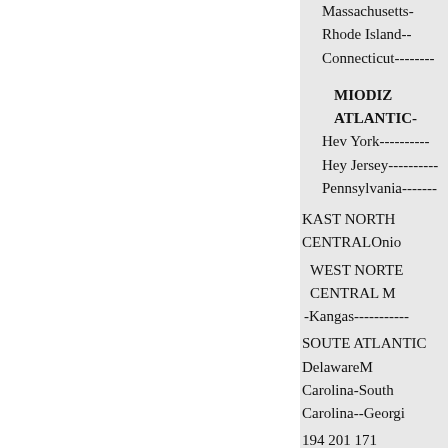Massachusetts-
Rhode Island--
Connecticut--------
MIODIZ ATLANTIC-
Hev York----------
Hey Jersey----------
Pennsylvania-------
KAST NORTH CENTRALOnio
WEST NORTE CENTRAL M
-Kangas-----------
SOUTE ATLANTIC DelawareM
Carolina-South Carolina--Georgi
194 201 171
431
61 136 389 152
2
3
3
72